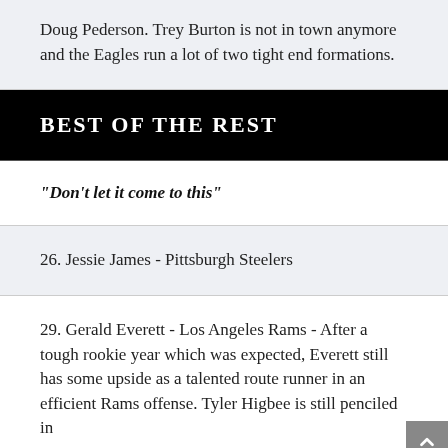Doug Pederson. Trey Burton is not in town anymore and the Eagles run a lot of two tight end formations.
BEST OF THE REST
"Don't let it come to this"
26. Jessie James - Pittsburgh Steelers
29. Gerald Everett - Los Angeles Rams - After a tough rookie year which was expected, Everett still has some upside as a talented route runner in an efficient Rams offense. Tyler Higbee is still penciled in